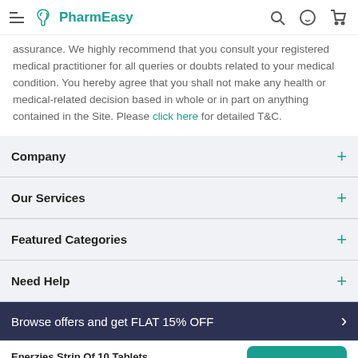PharmEasy
assurance. We highly recommend that you consult your registered medical practitioner for all queries or doubts related to your medical condition. You hereby agree that you shall not make any health or medical-related decision based in whole or in part on anything contained in the Site. Please click here for detailed T&C.
Company
Our Services
Featured Categories
Need Help
Browse offers and get FLAT 15% OFF
Enerzies Strip Of 10 Tablets ₹68 15% OFF